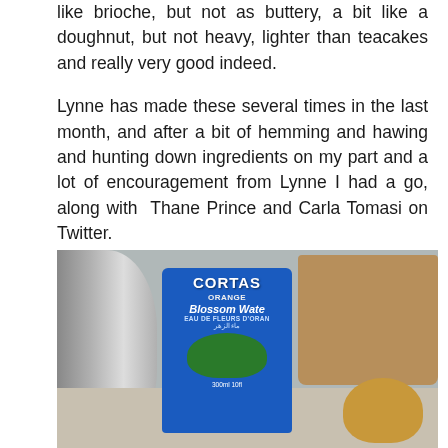like brioche, but not as buttery, a bit like a doughnut, but not heavy, lighter than teacakes and really very good indeed.

Lynne has made these several times in the last month, and after a bit of hemming and hawing and hunting down ingredients on my part and a lot of encouragement from Lynne I had a go, along with Thane Prince and Carla Tomasi on Twitter.
[Figure (photo): A bottle of Cortas Orange Blossom Water (Eau de Fleurs d'Oranger) on a kitchen counter, with a gray appliance on the left, a brown bag in the background right, and bread/pastry visible in the bottom right corner.]